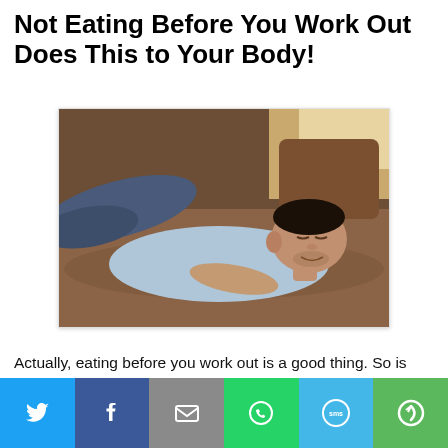Not Eating Before You Work Out Does This to Your Body!
[Figure (photo): A man lying relaxed on a brown leather couch, wearing a light blue shirt and dark jeans, resting his head on his crossed arms and looking downward with a calm expression.]
Actually, eating before you work out is a good thing. So is eating after a workout. But in order to reap the best benefits from both, you need to understand what to eat and how much.
[Figure (infographic): Social sharing bar with six buttons: Twitter (blue bird icon), Facebook (dark blue, f icon), Email (grey, envelope icon), WhatsApp (green, phone icon), SMS (light blue, SMS bubble icon), More (green, circle arrow icon).]